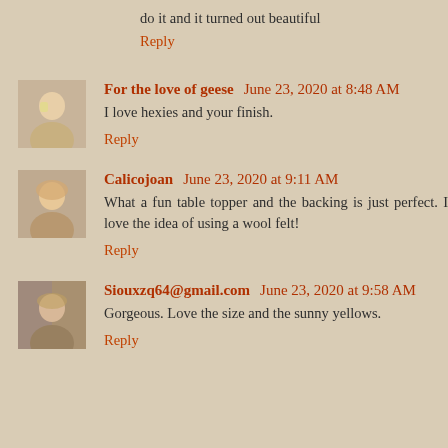do it and it turned out beautiful
Reply
For the love of geese  June 23, 2020 at 8:48 AM
I love hexies and your finish.
Reply
Calicojoan  June 23, 2020 at 9:11 AM
What a fun table topper and the backing is just perfect. I love the idea of using a wool felt!
Reply
Siouxzq64@gmail.com  June 23, 2020 at 9:58 AM
Gorgeous. Love the size and the sunny yellows.
Reply